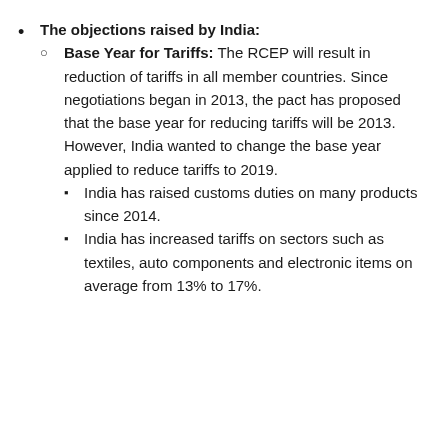The objections raised by India:
Base Year for Tariffs: The RCEP will result in reduction of tariffs in all member countries. Since negotiations began in 2013, the pact has proposed that the base year for reducing tariffs will be 2013. However, India wanted to change the base year applied to reduce tariffs to 2019.
India has raised customs duties on many products since 2014.
India has increased tariffs on sectors such as textiles, auto components and electronic items on average from 13% to 17%.